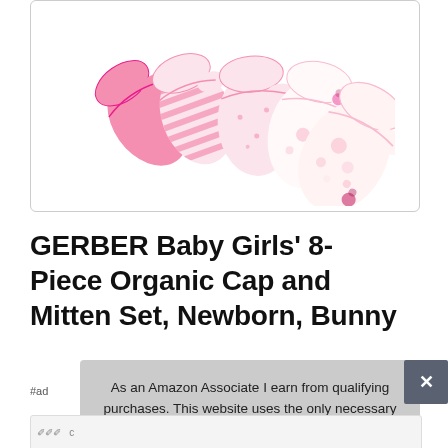[Figure (photo): Five pink baby mittens arranged in a diagonal fan pattern on a white background. The mittens are in various shades of pink including solid pink, pink stripes, and floral/bunny print designs.]
GERBER Baby Girls' 8-Piece Organic Cap and Mitten Set, Newborn, Bunny
#ad
As an Amazon Associate I earn from qualifying purchases. This website uses the only necessary cookies to ensure you get the best experience on our website. More information